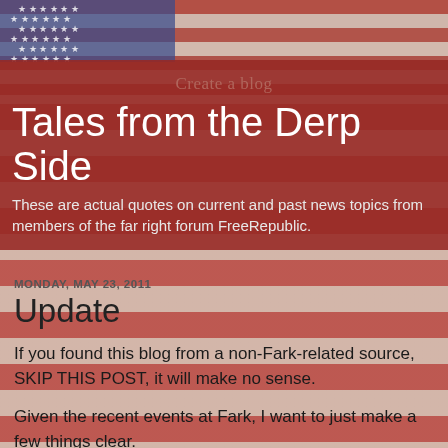[Figure (photo): American flag background image — faded vintage US flag with red and white stripes and blue star field]
Create a blog
Tales from the Derp Side
These are actual quotes on current and past news topics from members of the far right forum FreeRepublic.
MONDAY, MAY 23, 2011
Update
If you found this blog from a non-Fark-related source, SKIP THIS POST, it will make no sense.
Given the recent events at Fark, I want to just make a few things clear.
I'm not in agreement with the mods about asking me to stop